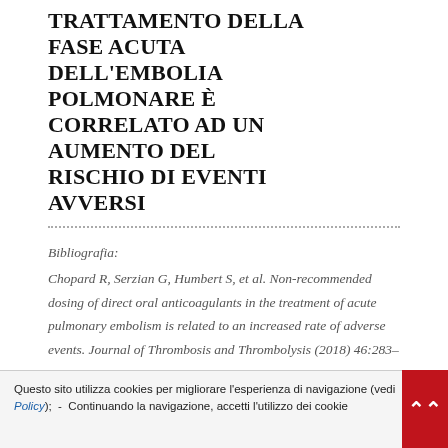TRATTAMENTO DELLA FASE ACUTA DELL'EMBOLIA POLMONARE È CORRELATO AD UN AUMENTO DEL RISCHIO DI EVENTI AVVERSI
Bibliografia: Chopard R, Serzian G, Humbert S, et al. Non-recommended dosing of direct oral anticoagulants in the treatment of acute pulmonary embolism is related to an increased rate of adverse events. Journal of Thrombosis and Thrombolysis (2018) 46:283–29
Questo sito utilizza cookies per migliorare l'esperienza di navigazione (vedi Policy); - Continuando la navigazione, accetti l'utilizzo dei cookie